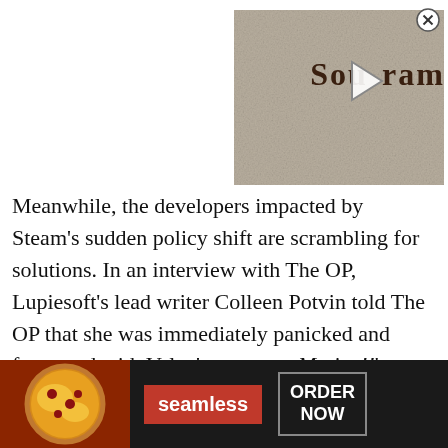[Figure (screenshot): Thumbnail image of 'Soulframe' game logo on a stone/parchment background with a play button overlay, with an X close button in top-right corner]
Meanwhile, the developers impacted by Steam's sudden policy shift are scrambling for solutions. In an interview with The OP, Lupiesoft's lead writer Colleen Potvin told The OP that she was immediately panicked and frustrated with Valve's move, as Mutiny!!'s Steam release had “no sex, very limited nudity, no patches that added in the explicit parts,” and no links to stores where the full game's explicit release
[Figure (screenshot): Seamless food delivery advertisement banner showing pizza image on left, red Seamless logo in center, and ORDER NOW button on right against dark background]